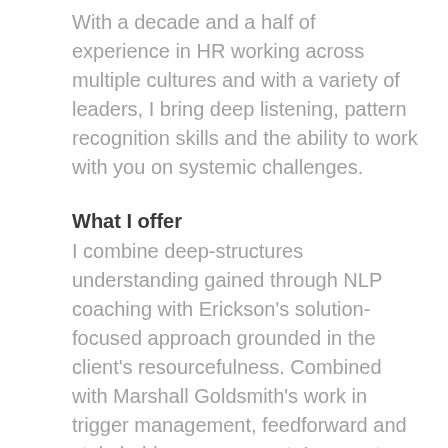With a decade and a half of experience in HR working across multiple cultures and with a variety of leaders, I bring deep listening, pattern recognition skills and the ability to work with you on systemic challenges.
What I offer
I combine deep-structures understanding gained through NLP coaching with Erickson's solution-focused approach grounded in the client's resourcefulness. Combined with Marshall Goldsmith's work in trigger management, feedforward and stakeholder engagement, I support you in working through behavior change and habit formation to achieve your goals.
As your coach, I'm delighted to partner you through your own transformation journey, using some powerful self-awareness, feedback and